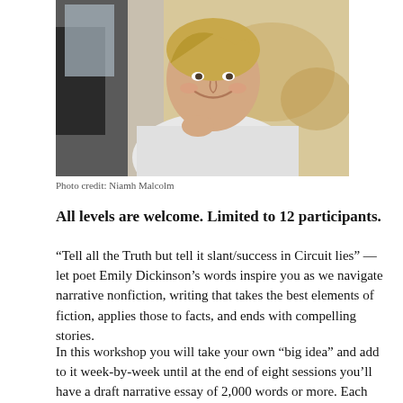[Figure (photo): A smiling middle-aged blonde woman in a white shirt, seated indoors, slightly leaning forward]
Photo credit: Niamh Malcolm
All levels are welcome. Limited to 12 participants.
“Tell all the Truth but tell it slant/success in Circuit lies” — let poet Emily Dickinson’s words inspire you as we navigate narrative nonfiction, writing that takes the best elements of fiction, applies those to facts, and ends with compelling stories.
In this workshop you will take your own “big idea” and add to it week-by-week until at the end of eight sessions you’ll have a draft narrative essay of 2,000 words or more. Each participant will be edited at two online sessions